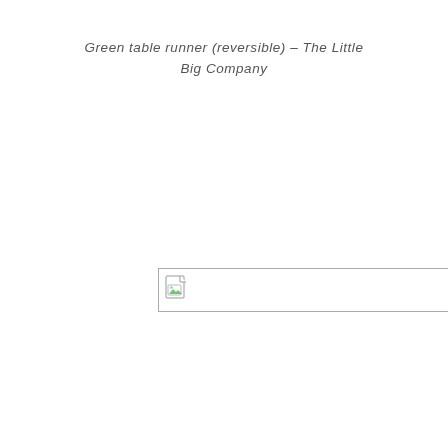Green table runner (reversible) – The Little Big Company
[Figure (photo): Broken image placeholder icon with a thin rectangular border, showing a small broken image icon in the top-left corner]